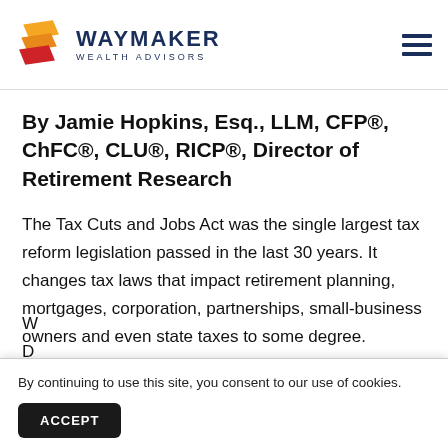WAYMAKER WEALTH ADVISORS
By Jamie Hopkins, Esq., LLM, CFP®, ChFC®, CLU®, RICP®, Director of Retirement Research
The Tax Cuts and Jobs Act was the single largest tax reform legislation passed in the last 30 years. It changes tax laws that impact retirement planning, mortgages, corporation, partnerships, small-business owners and even state taxes to some degree.
By continuing to use this site, you consent to our use of cookies.
ACCEPT